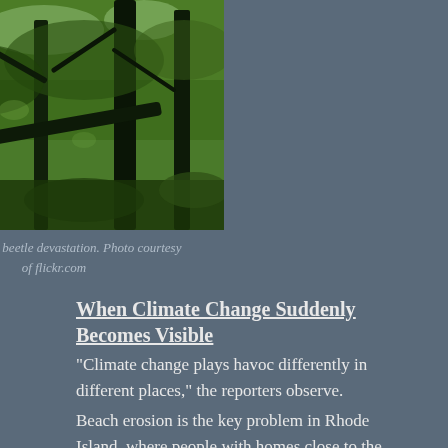[Figure (photo): Forest scene showing dark tree trunks with dense green foliage, depicting southern pine beetle devastation in a wooded area.]
Southern pine beetle devastation. Photo courtesy of flickr.com
When Climate Change Suddenly Becomes Visible
“Climate change plays havoc differently in different places,” the reporters observe.
Beach erosion is the key problem in Rhode Island, where people with homes close to the ocean scramble to move them back farther and farther. Three feet of beach